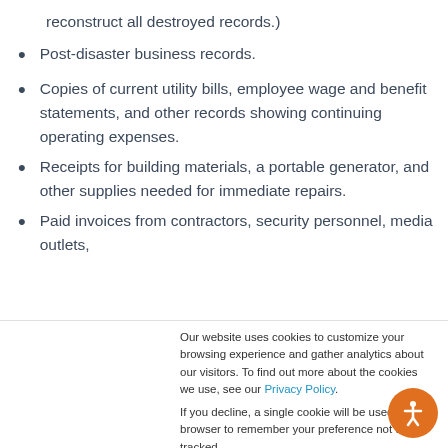reconstruct all destroyed records.)
Post-disaster business records.
Copies of current utility bills, employee wage and benefit statements, and other records showing continuing operating expenses.
Receipts for building materials, a portable generator, and other supplies needed for immediate repairs.
Paid invoices from contractors, security personnel, media outlets,
Our website uses cookies to customize your browsing experience and gather analytics about our visitors. To find out more about the cookies we use, see our Privacy Policy.

If you decline, a single cookie will be used in your browser to remember your preference not to be tracked.